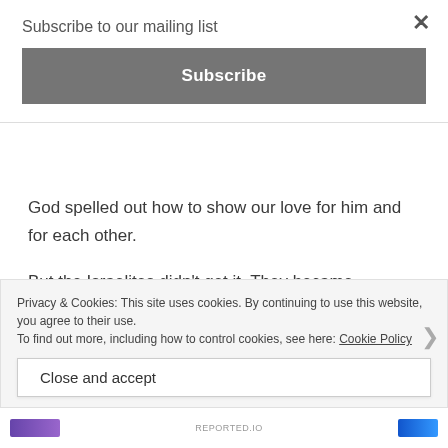Subscribe to our mailing list
Subscribe
God spelled out how to show our love for him and for each other.
But the Israelites didn't get it. They became judgmental of each other's behavior instead of loving. Knowing this, Jesus made it clear. He simplified the instructions. “So now I am giving you a new commandment: Love each
Privacy & Cookies: This site uses cookies. By continuing to use this website, you agree to their use.
To find out more, including how to control cookies, see here: Cookie Policy
Close and accept